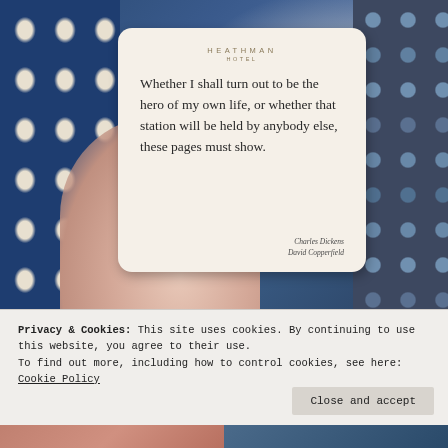[Figure (photo): A hand holding a Heathman Hotel card/coaster with a Charles Dickens quote from David Copperfield. The card has rounded corners and reads: 'Whether I shall turn out to be the hero of my own life, or whether that station will be held by anybody else, these pages must show.' — Charles Dickens, David Copperfield. Background shows blue patterned fabric on left and decorative metallic grid on right.]
Privacy & Cookies: This site uses cookies. By continuing to use this website, you agree to their use.
To find out more, including how to control cookies, see here: Cookie Policy
Close and accept